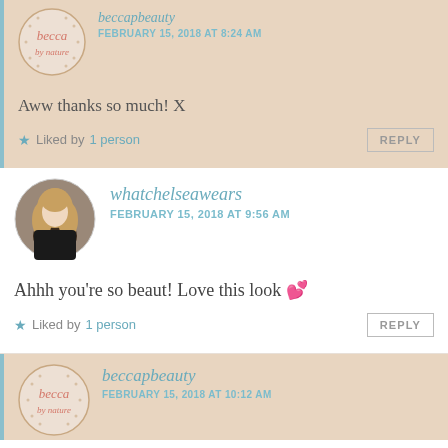beccapbeauty
FEBRUARY 15, 2018 AT 8:24 AM
Aww thanks so much! X
Liked by 1 person
REPLY
whatchelseawears
FEBRUARY 15, 2018 AT 9:56 AM
Ahhh you're so beaut! Love this look 💕
Liked by 1 person
REPLY
beccapbeauty
FEBRUARY 15, 2018 AT 10:12 AM